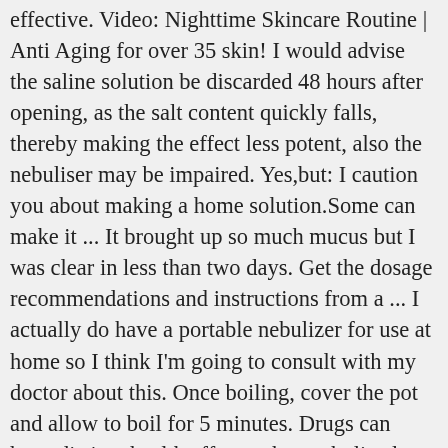effective. Video: Nighttime Skincare Routine | Anti Aging for over 35 skin! I would advise the saline solution be discarded 48 hours after opening, as the salt content quickly falls, thereby making the effect less potent, also the nebuliser may be impaired. Yes,but: I caution you about making a home solution.Some can make it ... It brought up so much mucus but I was clear in less than two days. Get the dosage recommendations and instructions from a ... I actually do have a portable nebulizer for use at home so I think I'm going to consult with my doctor about this. Once boiling, cover the pot and allow to boil for 5 minutes. Drugs can have distinct health effects when nebulized, and their use requires medical supervision. A nebulizer is a device that changes a liquid solution into a vapor or mist for inhalation, and there are usually two varieties: the compressor type and the ultrasonic type. What Is the Difference Between Compression Stockings & Support Hose? 0 comment. 1. Let the saline mixture